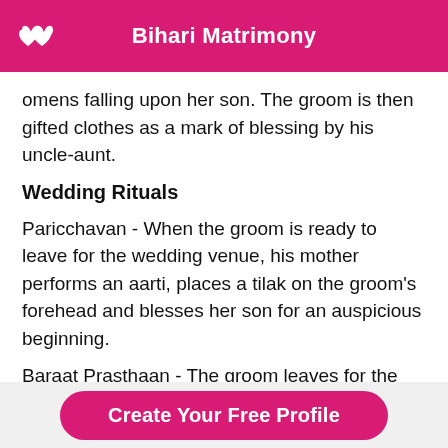Bihari Matrimony
omens falling upon her son. The groom is then gifted clothes as a mark of blessing by his uncle-aunt.
Wedding Rituals
Paricchavan - When the groom is ready to leave for the wedding venue, his mother performs an aarti, places a tilak on the groom's forehead and blesses her son for an auspicious beginning.
Baraat Prasthaan - The groom leaves for the
Create Your Free Profile